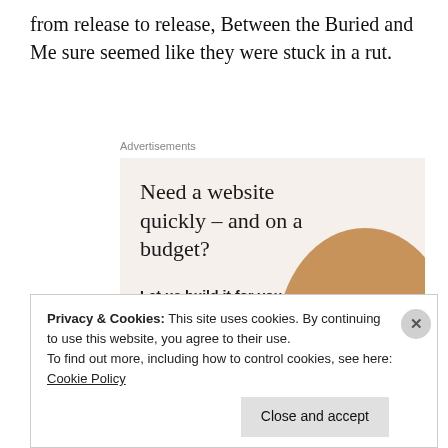from release to release, Between the Buried and Me sure seemed like they were stuck in a rut.
Advertisements
[Figure (illustration): An advertisement with a beige/cream background. Large serif text reads 'Need a website quickly – and on a budget?' with subtext 'Let us build it for you' and a white button 'Let's get started'. A circular photo of hands typing on a laptop is on the right side.]
Privacy & Cookies: This site uses cookies. By continuing to use this website, you agree to their use.
To find out more, including how to control cookies, see here: Cookie Policy
Close and accept